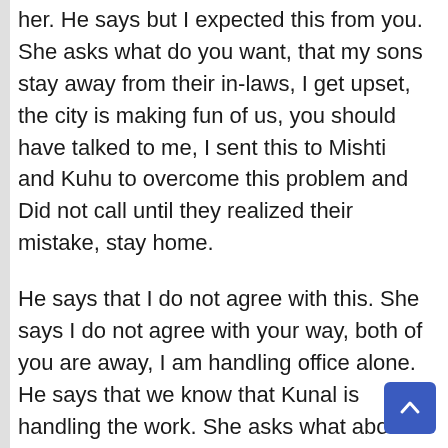her. He says but I expected this from you. She asks what do you want, that my sons stay away from their in-laws, I get upset, the city is making fun of us, you should have talked to me, I sent this to Mishti and Kuhu to overcome this problem and Did not call until they realized their mistake, stay home.
He says that I do not agree with this. She says I do not agree with your way, both of you are away, I am handling office alone. He says that we know that Kunal is handling the work. She asks what about people.
He says that I do not care for those whom I do not know, its son and the problem of the bows, do not know about it. She asks if you know the